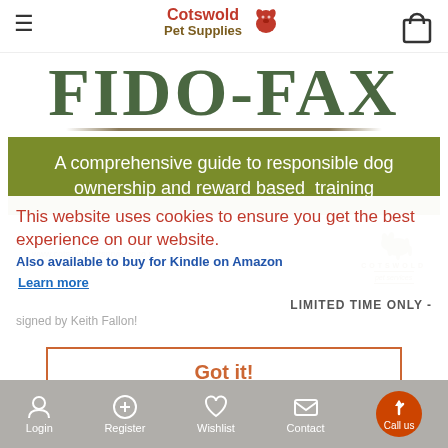Cotswold Pet Supplies
FIDO-FAX
A comprehensive guide to responsible dog ownership and reward based training
www.cotswoldpetservices.co.uk
This website uses cookies to ensure you get the best experience on our website.
Also available to buy for Kindle on Amazon
Learn more
LIMITED TIME ONLY -
signed by Keith Fallon!
Got it!
Login  Register  Wishlist  Contact  Call us